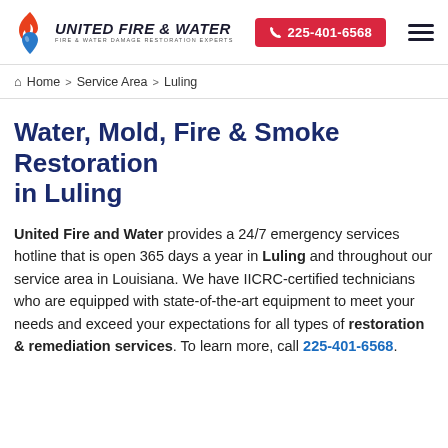[Figure (logo): United Fire & Water logo with flame and water drop icon, company name in bold italic uppercase, tagline 'Fire & Water Damage Restoration Experts']
225-401-6568
Home > Service Area > Luling
Water, Mold, Fire & Smoke Restoration in Luling
United Fire and Water provides a 24/7 emergency services hotline that is open 365 days a year in Luling and throughout our service area in Louisiana. We have IICRC-certified technicians who are equipped with state-of-the-art equipment to meet your needs and exceed your expectations for all types of restoration & remediation services. To learn more, call 225-401-6568.